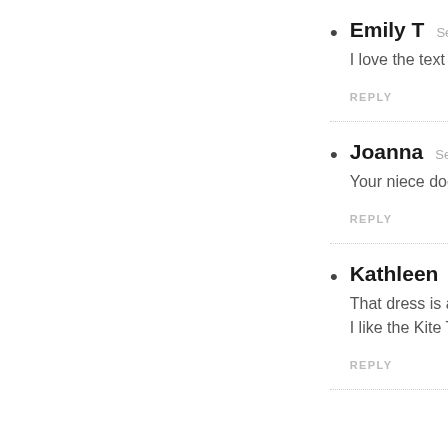Emily T  Sep
I love the text p
REPLY
Joanna  Sept
Your niece does
REPLY
Kathleen  Se
That dress is ab
I like the Kite T
REPLY